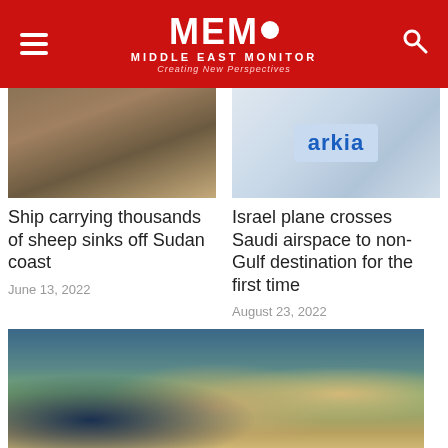MEMO MIDDLE EAST MONITOR Creating New Perspectives
[Figure (photo): Image of ship with sheep]
Ship carrying thousands of sheep sinks off Sudan coast
June 13, 2022
[Figure (photo): Arkia airline logo on phone screen]
Israel plane crosses Saudi airspace to non-Gulf destination for the first time
August 23, 2022
[Figure (photo): Biden and Saudi Crown Prince MBS meeting]
UN presses Yemen warring parties for six-month truce extension
July 18, 2022